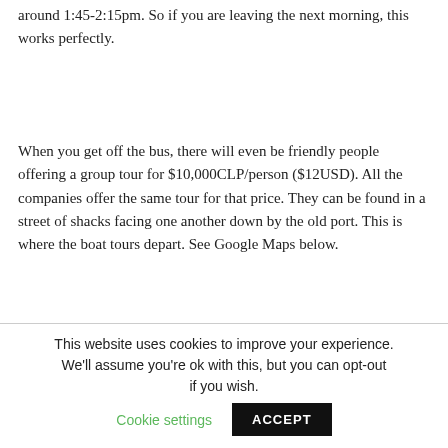around 1:45-2:15pm. So if you are leaving the next morning, this works perfectly.
When you get off the bus, there will even be friendly people offering a group tour for $10,000CLP/person ($12USD). All the companies offer the same tour for that price. They can be found in a street of shacks facing one another down by the old port. This is where the boat tours depart. See Google Maps below.
[Figure (screenshot): Google Maps screenshot showing Los Pinos location marker (pink) and Rio Tranquilo label with a green triangle marker, with blue water area visible]
This website uses cookies to improve your experience. We'll assume you're ok with this, but you can opt-out if you wish. Cookie settings ACCEPT